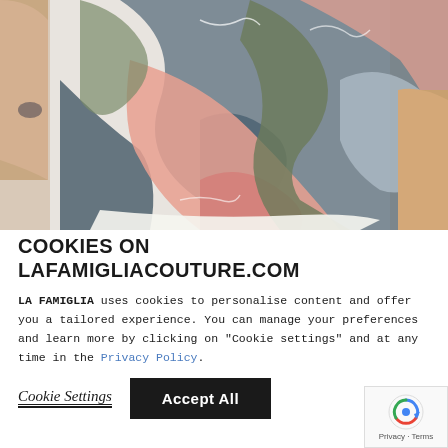[Figure (photo): Close-up photo of a person wearing a sleeveless top with an abstract floral print in pink, green, grey, and white colors. The person's torso and arms are partially visible against a light background.]
COOKIES ON LAFAMIGLIACOUTURE.COM
LA FAMIGLIA uses cookies to personalise content and offer you a tailored experience. You can manage your preferences and learn more by clicking on "Cookie settings" and at any time in the Privacy Policy.
Cookie Settings   Accept All